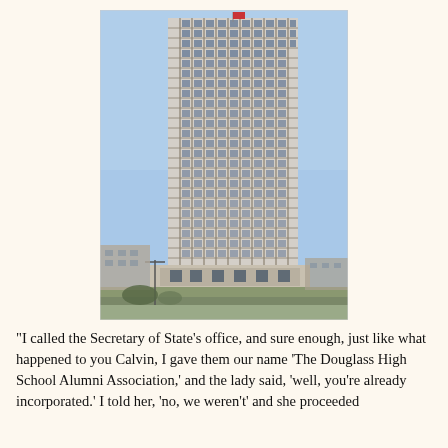[Figure (photo): Photograph of a tall modernist office skyscraper (approximately 30 stories) with a glass and concrete grid facade, a flag on top, photographed from street level against a clear blue sky. Lower floors show surrounding urban buildings and street-level structures.]
"I called the Secretary of State's office, and sure enough, just like what happened to you Calvin, I gave them our name 'The Douglass High School Alumni Association,' and the lady said, 'well, you're already incorporated.' I told her, 'no, we weren't' and she proceeded